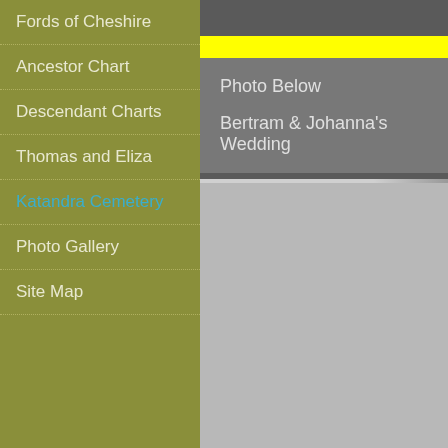Fords of Cheshire
Ancestor Chart
Descendant Charts
Thomas and Eliza
Katandra Cemetery
Photo Gallery
Site Map
Photo Below
Bertram & Johanna's Wedding
[Figure (screenshot): Light gray placeholder area representing photo content below the menu listing]